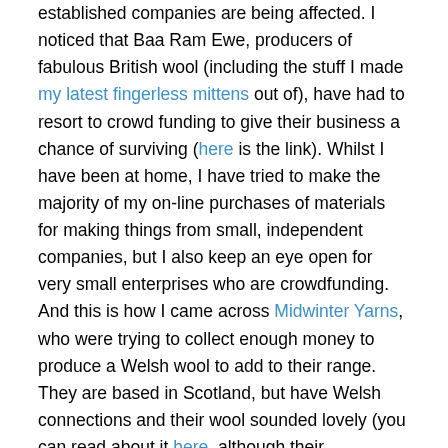established companies are being affected. I noticed that Baa Ram Ewe, producers of fabulous British wool (including the stuff I made my latest fingerless mittens out of), have had to resort to crowd funding to give their business a chance of surviving (here is the link). Whilst I have been at home, I have tried to make the majority of my on-line purchases of materials for making things from small, independent companies, but I also keep an eye open for very small enterprises who are crowdfunding. And this is how I came across Midwinter Yarns, who were trying to collect enough money to produce a Welsh wool to add to their range. They are based in Scotland, but have Welsh connections and their wool sounded lovely (you can read about it here, although their crowdfunder was successful and closed last summer).
My contribution was sufficient to receive six skeins of their